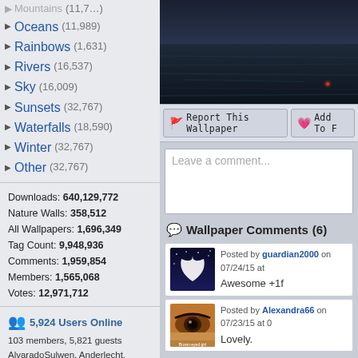Mountains (cut off top)
Oceans (11,989)
Rainbows (1,631)
Rivers (16,537)
Sky (16,009)
Sunsets (32,767)
Waterfalls (18,590)
Winter (32,767)
Other (32,767)
Downloads: 640,129,772
Nature Walls: 358,512
All Wallpapers: 1,696,349
Tag Count: 9,948,936
Comments: 1,959,854
Members: 1,565,068
Votes: 12,971,712
5,924 Users Online
103 members, 5,821 guests
AlvaradoSulwen, Anderlecht, artinconstruction, Astro, BestPsychic000, bmpressurewashing2, Boatent98, boliou, brandbajade, bridgecounseling, brighterfinance, CarrollDentistry, cell-phone-hacking, chatonfragile, Cleaners567, ColbyRichardson, cortez68341, crypticpixelseo, cupidc657, deborahhinkley, doyleplumbinggroup, driverjoe, duanvinhomescom, dubmovie, enailvietnam, erahobb,
[Figure (photo): Ocean/sea landscape wallpaper with dark water and small light source]
Report This Wallpaper    Add To F...
Leave a comment...
Wallpaper Comments (6)
Posted by guardian2000 on 07/24/15 at
Awesome +1f
Posted by Alexandra66 on 07/23/15 at 0
Lovely.